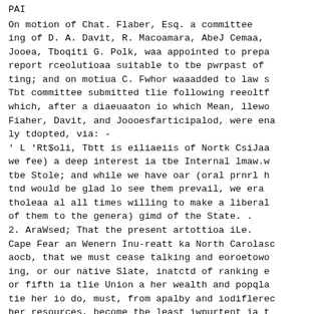PAI
On motion of Chat. Flaber, Esq. a committee ing of D. A. Davit, R. Macoamara, AbeJ Cemaa, Jooea, Tboqiti G. Polk, waa appointed to prepa report rceolutioaa suitable to tbe pwrpast of ting; and on motiua C. Fwhor waaadded to law s Tbt committee submitted tlie following reeoltf which, after a diaeuaaton io which Mean, llewo Fiaher, Davit, and Joooesfarticipalod, were ena ly tdopted, via: -
' L 'Rt$oli, Tbtt is eiliaeiis of Nortk CsiJaa we fee) a deep interest ia tbe Internal lmaw.w tbe Stole; and while we have oar (oral prnrl h tnd would be glad lo see them prevail, we era tholeaa al all times willing to make a liberal of them to the genera) gimd of the State. .
2. AraWsed; That the present artottioa iLe. Cape Fear an Wenern Inu-reatt ka North Carolasc aocb, that we must cease talking and eoroetowo ing, or our native Slate, inatctd of ranking e or fifth ia tlie Union a her wealth and popqla tie her io do, must, from apalby and iodiflerec her resources, become tbe least iwpurtent ia t fednracy.
8. Rc&olofl. That it is extremely derirable th